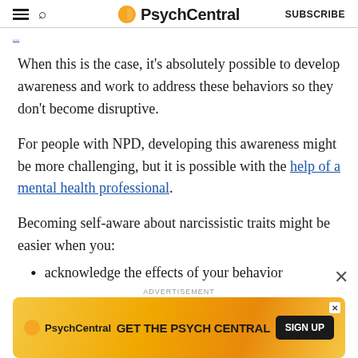PsychCentral — SUBSCRIBE
When this is the case, it’s absolutely possible to develop awareness and work to address these behaviors so they don’t become disruptive.
For people with NPD, developing this awareness might be more challenging, but it is possible with the help of a mental health professional.
Becoming self-aware about narcissistic traits might be easier when you:
acknowledge the effects of your behavior
[Figure (other): PsychCentral advertisement banner with logo, text 'GET THE PSYCH CENTRAL' and 'SIGN UP' button on orange/yellow gradient background]